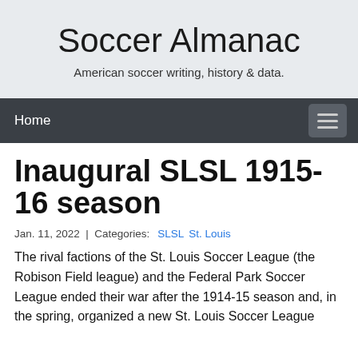Soccer Almanac
American soccer writing, history & data.
Home
Inaugural SLSL 1915-16 season
Jan. 11, 2022 | Categories: SLSL St. Louis
The rival factions of the St. Louis Soccer League (the Robison Field league) and the Federal Park Soccer League ended their war after the 1914-15 season and, in the spring, organized a new St. Louis Soccer League